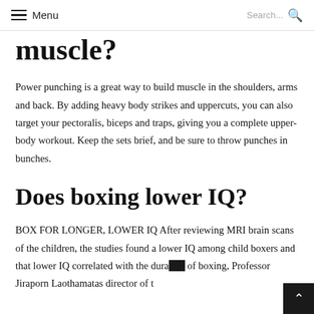Menu  Search...
muscle?
Power punching is a great way to build muscle in the shoulders, arms and back. By adding heavy body strikes and uppercuts, you can also target your pectoralis, biceps and traps, giving you a complete upper-body workout. Keep the sets brief, and be sure to throw punches in bunches.
Does boxing lower IQ?
BOX FOR LONGER, LOWER IQ After reviewing MRI brain scans of the children, the studies found a lower IQ among child boxers and that lower IQ correlated with the duration of boxing, Professor Jiraporn Laothamatas director of t